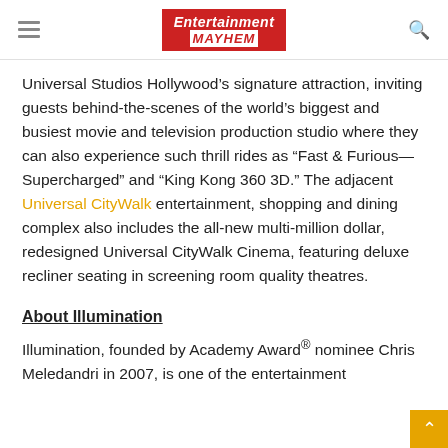Entertainment MAYHEM
Universal Studios Hollywood’s signature attraction, inviting guests behind-the-scenes of the world’s biggest and busiest movie and television production studio where they can also experience such thrill rides as “Fast & Furious—Supercharged” and “King Kong 360 3D.” The adjacent Universal CityWalk entertainment, shopping and dining complex also includes the all-new multi-million dollar, redesigned Universal CityWalk Cinema, featuring deluxe recliner seating in screening room quality theatres.
About Illumination
Illumination, founded by Academy Award® nominee Chris Meledandri in 2007, is one of the entertainment